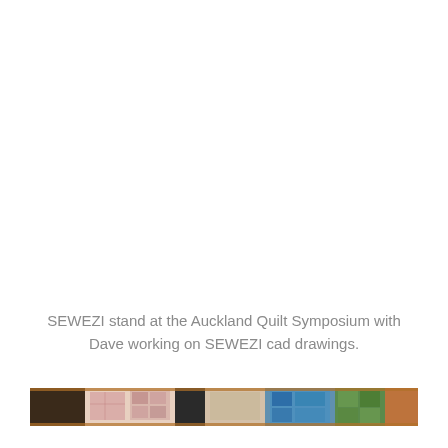SEWEZI stand at the Auckland Quilt Symposium with Dave working on SEWEZI cad drawings.
[Figure (photo): A narrow horizontal strip photo showing a trade show display stand with quilts and fabric items, partially visible figures, and colourful fabric patterns.]